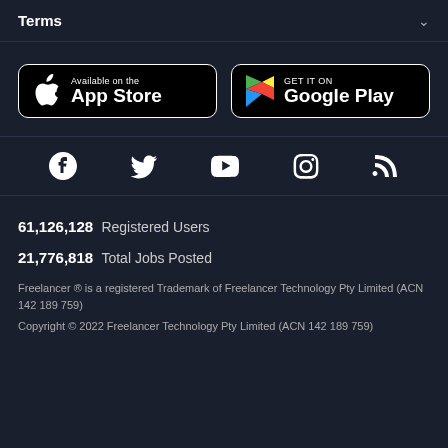Terms
[Figure (other): App Store and Google Play download buttons]
[Figure (other): Social media icons: Facebook, Twitter, YouTube, Instagram, RSS]
61,126,128  Registered Users
21,776,818  Total Jobs Posted
Freelancer ® is a registered Trademark of Freelancer Technology Pty Limited (ACN 142 189 759)
Copyright © 2022 Freelancer Technology Pty Limited (ACN 142 189 759)